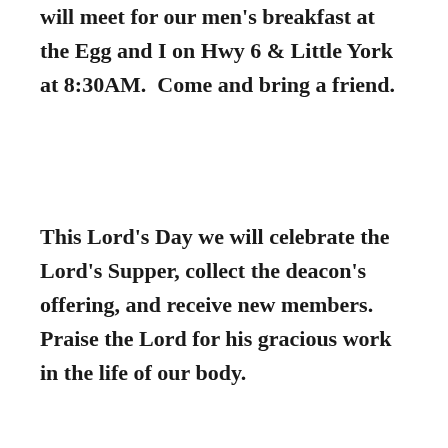will meet for our men's breakfast at the Egg and I on Hwy 6 & Little York at 8:30AM.  Come and bring a friend.
This Lord's Day we will celebrate the Lord's Supper, collect the deacon's offering, and receive new members. Praise the Lord for his gracious work in the life of our body.